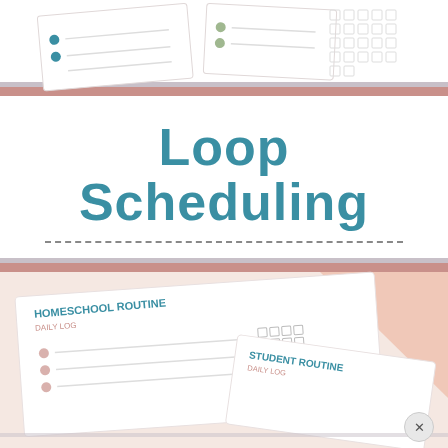[Figure (illustration): Top portion showing planner/checklist pages with teal and rose/pink decorative elements and checkboxes]
Loop Scheduling
for all your homemaking, homeschooling, projects, & more!
[Figure (illustration): Bottom portion showing 'Homeschool Routine Daily Log' and 'Student Routine Daily Log' planner pages at an angle with pink/peach decorative geometric shapes and checkboxes]